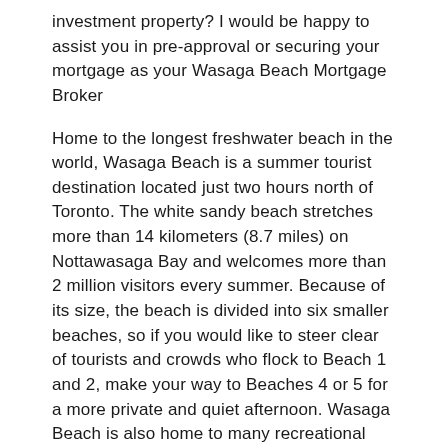investment property? I would be happy to assist you in pre-approval or securing your mortgage as your Wasaga Beach Mortgage Broker
Home to the longest freshwater beach in the world, Wasaga Beach is a summer tourist destination located just two hours north of Toronto. The white sandy beach stretches more than 14 kilometers (8.7 miles) on Nottawasaga Bay and welcomes more than 2 million visitors every summer. Because of its size, the beach is divided into six smaller beaches, so if you would like to steer clear of tourists and crowds who flock to Beach 1 and 2, make your way to Beaches 4 or 5 for a more private and quiet afternoon. Wasaga Beach is also home to many recreational trails and the Nottawasaga River is good for game fishing, canoeing and boating.